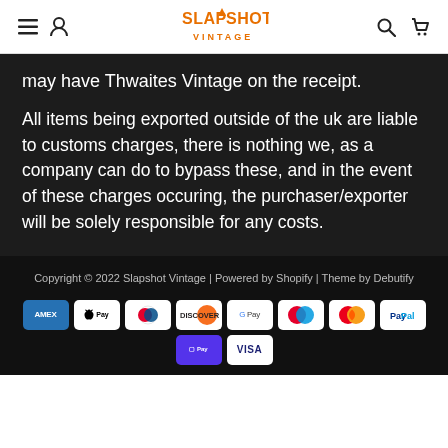Slapshot Vintage (navigation header)
may have Thwaites Vintage on the receipt.
All items being exported outside of the uk are liable to customs charges, there is nothing we, as a company can do to bypass these, and in the event of these charges occuring, the purchaser/exporter will be solely responsible for any costs.
Copyright © 2022 Slapshot Vintage | Powered by Shopify | Theme by Debutify
[Figure (other): Payment method icons: AMEX, Apple Pay, Diners Club, Discover, Google Pay, Maestro, Mastercard, PayPal, Shopify Pay, Visa]